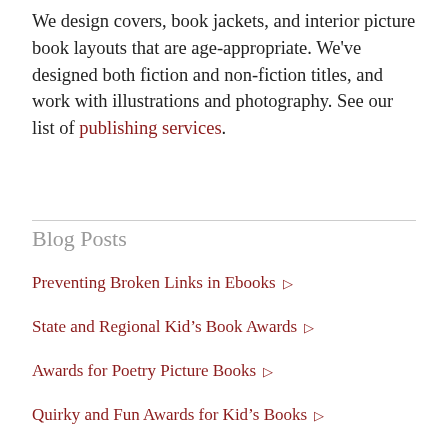We design covers, book jackets, and interior picture book layouts that are age-appropriate. We've designed both fiction and non-fiction titles, and work with illustrations and photography. See our list of publishing services.
Blog Posts
Preventing Broken Links in Ebooks ▷
State and Regional Kid's Book Awards ▷
Awards for Poetry Picture Books ▷
Quirky and Fun Awards for Kid's Books ▷
Awards for LGBTQ Children's Books ▷